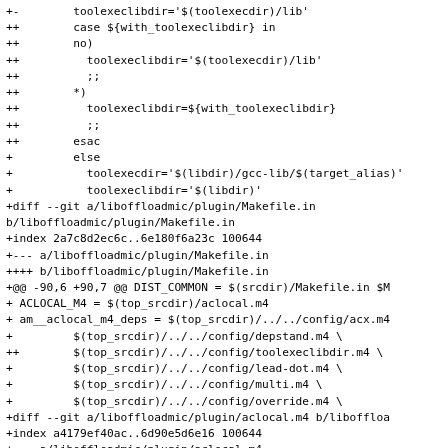+-        toolexeclibdir='$(toolexecdir)/lib'
++        case ${with_toolexeclibdir} in
++        no)
++          toolexeclibdir='$(toolexecdir)/lib'
++          ;;
++        *)
++          toolexeclibdir=${with_toolexeclibdir}
++          ;;
++        esac
+         else
+           toolexecdir='$(libdir)/gcc-lib/$(target_alias)'
+           toolexeclibdir='$(libdir)'
+diff --git a/liboffloadmic/plugin/Makefile.in
b/liboffloadmic/plugin/Makefile.in
+index 2a7c8d2ec6c..6e180f6a23c 100644
+--- a/liboffloadmic/plugin/Makefile.in
++++ b/liboffloadmic/plugin/Makefile.in
+@@ -90,6 +90,7 @@ DIST_COMMON = $(srcdir)/Makefile.in $M
+ ACLOCAL_M4 = $(top_srcdir)/aclocal.m4
+ am__aclocal_m4_deps = $(top_srcdir)/../../config/acx.m4
+         $(top_srcdir)/../../config/depstand.m4 \
++        $(top_srcdir)/../../config/toolexeclibdir.m4 \
+         $(top_srcdir)/../../config/lead-dot.m4 \
+         $(top_srcdir)/../../config/multi.m4 \
+         $(top_srcdir)/../../config/override.m4 \
+diff --git a/liboffloadmic/plugin/aclocal.m4 b/liboffloa
+index a4179ef40ac..6d90e5d6e16 100644
+--- a/liboffloadmic/plugin/aclocal.m4
++++ b/liboffloadmic/plugin/aclocal.m4
+@@ -990,6 +990,7 @@ AC_SUBST([am__untar])